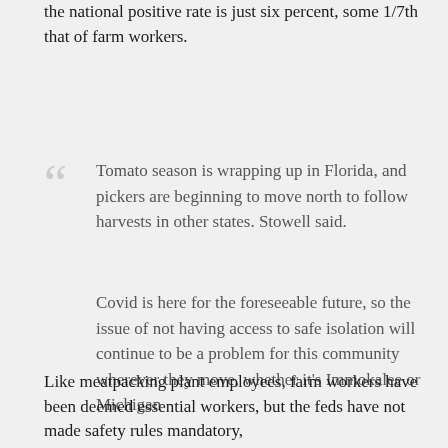the national positive rate is just six percent, some 1/7th that of farm workers.
Tomato season is wrapping up in Florida, and pickers are beginning to move north to follow harvests in other states. Stowell said.
Covid is here for the foreseeable future, so the issue of not having access to safe isolation will continue to be a problem for this community wherever they move, whether it's Immokalee or Michigan
Like meatpacking plant employees, farm workers have been deemed essential workers, but the feds have not made safety rules mandatory,